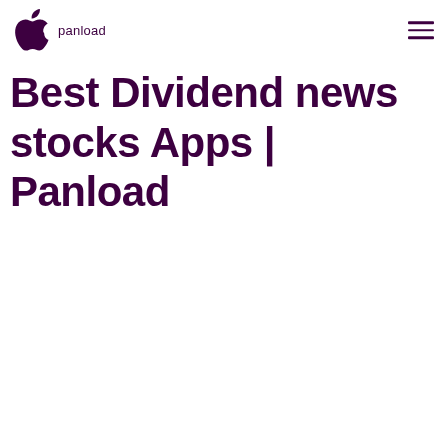panload
Best Dividend news stocks Apps | Panload